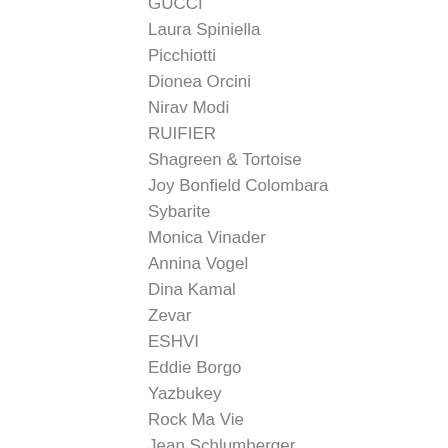GUCCI
Laura Spiniella
Picchiotti
Dionea Orcini
Nirav Modi
RUIFIER
Shagreen & Tortoise
Joy Bonfield Colombara
Sybarite
Monica Vinader
Annina Vogel
Dina Kamal
Zevar
ESHVI
Eddie Borgo
Yazbukey
Rock Ma Vie
Jean Schlumberger